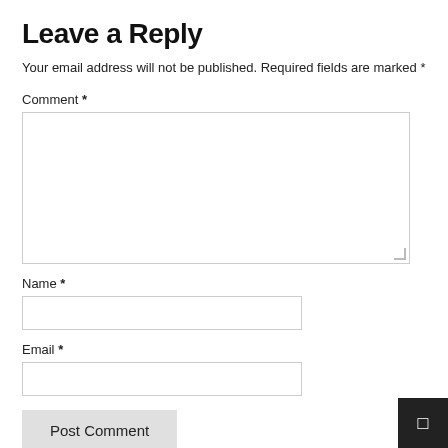Leave a Reply
Your email address will not be published. Required fields are marked *
Comment *
Name *
Email *
Post Comment